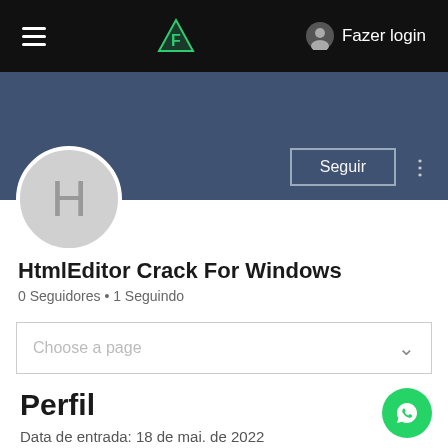≡  [Logo]  ○ Fazer login
[Figure (screenshot): Blue-grey cover banner area]
H
Seguir
HtmlEditor Crack For Windows
0 Seguidores • 1 Seguindo
Choose a page
Perfil
Data de entrada: 18 de mai. de 2022
Sobre